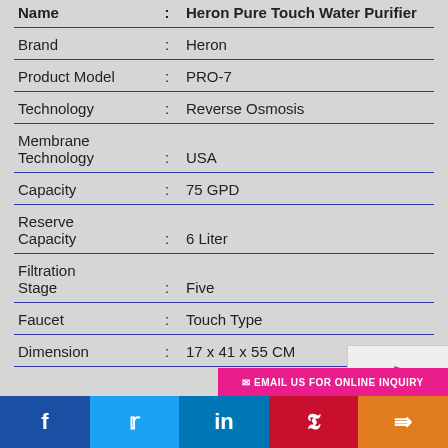| Name | : | Heron Pure Touch Water Purifier |
| --- | --- | --- |
| Brand | : | Heron |
| Product Model | : | PRO-7 |
| Technology | : | Reverse Osmosis |
| Membrane Technology | : | USA |
| Capacity | : | 75 GPD |
| Reserve Capacity | : | 6 Liter |
| Filtration Stage | : | Five |
| Faucet | : | Touch Type |
| Dimension | : | 17 x 41 x 55 CM |